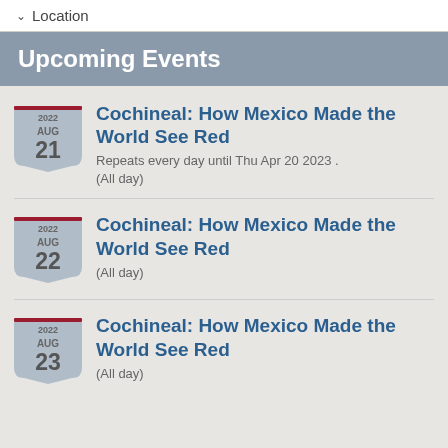Location
Upcoming Events
Cochineal: How Mexico Made the World See Red
Repeats every day until Thu Apr 20 2023 .
(All day)
2022 AUG 21
Cochineal: How Mexico Made the World See Red
(All day)
2022 AUG 22
Cochineal: How Mexico Made the World See Red
(All day)
2022 AUG 23